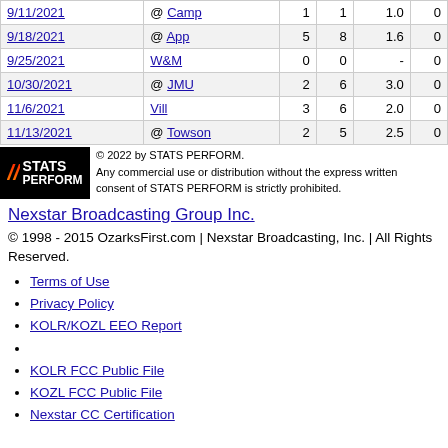| Date | Opponent |  |  |  |  |
| --- | --- | --- | --- | --- | --- |
| 9/11/2021 | @ Camp | 1 | 1 | 1.0 | 0 |
| 9/18/2021 | @ App | 5 | 8 | 1.6 | 0 |
| 9/25/2021 | W&M | 0 | 0 | - | 0 |
| 10/30/2021 | @ JMU | 2 | 6 | 3.0 | 0 |
| 11/6/2021 | Vill | 3 | 6 | 2.0 | 0 |
| 11/13/2021 | @ Towson | 2 | 5 | 2.5 | 0 |
[Figure (logo): STATS PERFORM logo with slashes in orange/red gradient on black background]
© 2022 by STATS PERFORM. Any commercial use or distribution without the express written consent of STATS PERFORM is strictly prohibited.
Nexstar Broadcasting Group Inc.
© 1998 - 2015 OzarksFirst.com | Nexstar Broadcasting, Inc. | All Rights Reserved.
Terms of Use
Privacy Policy
KOLR/KOZL EEO Report
KOLR FCC Public File
KOZL FCC Public File
Nexstar CC Certification